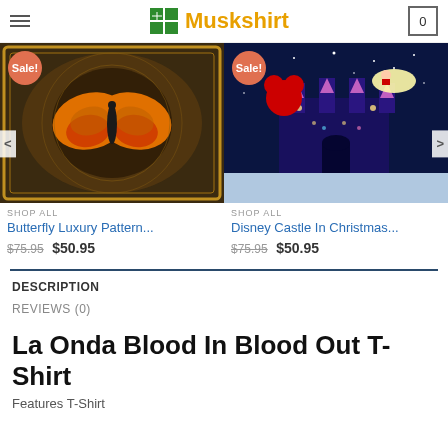Muskshirt
[Figure (photo): Butterfly Luxury Pattern quilt/blanket product photo with 'Sale!' badge]
[Figure (photo): Disney Castle In Christmas quilt/blanket product photo with 'Sale!' badge]
SHOP ALL
Butterfly Luxury Pattern...
$75.95  $50.95
SHOP ALL
Disney Castle In Christmas...
$75.95  $50.95
DESCRIPTION
REVIEWS (0)
La Onda Blood In Blood Out T-Shirt
Features T-Shirt